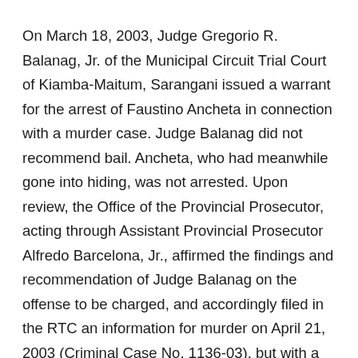On March 18, 2003, Judge Gregorio R. Balanag, Jr. of the Municipal Circuit Trial Court of Kiamba-Maitum, Sarangani issued a warrant for the arrest of Faustino Ancheta in connection with a murder case. Judge Balanag did not recommend bail. Ancheta, who had meanwhile gone into hiding, was not arrested. Upon review, the Office of the Provincial Prosecutor, acting through Assistant Provincial Prosecutor Alfredo Barcelona, Jr., affirmed the findings and recommendation of Judge Balanag on the offense to be charged, and accordingly filed in the RTC an information for murder on April 21, 2003 (Criminal Case No. 1136-03), but with a recommendation for bail in the amount of ₱400,000.00. Criminal Case No. 1136-03 was raffled to Judge Infante's Branch.